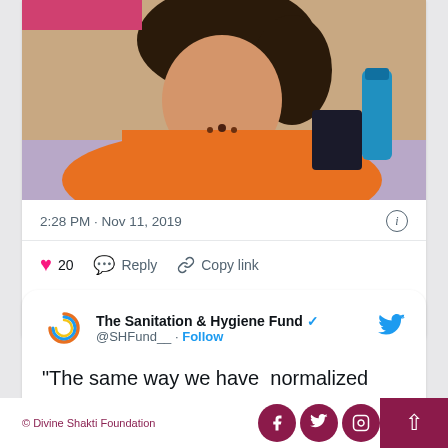[Figure (photo): Partial photo of a woman in an orange top with curly dark hair, sitting at a table with a blue water bottle in the background. Top portion cropped.]
2:28 PM · Nov 11, 2019
20  Reply  Copy link
Explore what's happening on Twitter
The Sanitation & Hygiene Fund @SHFund__ · Follow
“The same way we have  normalized defecation, we should also do the same with menstruation,” says
© Divine Shakti Foundation